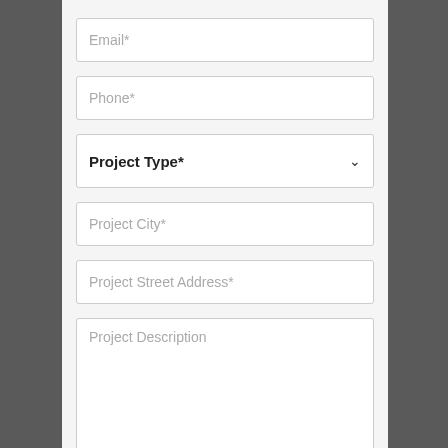Email*
Phone*
Project Type*
Project City*
Project Street Address*
Project Description